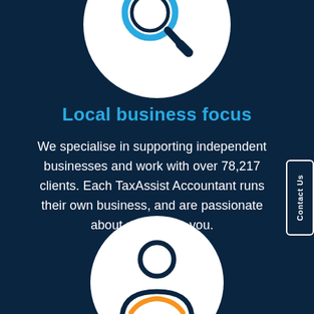[Figure (illustration): White circle with a magnifying glass icon (blue ring, dark handle) partially visible at top of page]
Local business focus
We specialise in supporting independent businesses and work with over 78,217 clients. Each TaxAssist Accountant runs their own business, and are passionate about supporting you.
[Figure (illustration): White circle with a person/user icon (orange and dark blue) partially visible at bottom of page]